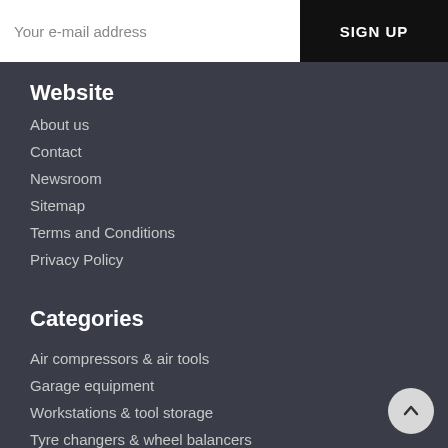Your e-mail address
SIGN UP
Website
About us
Contact
Newsroom
Sitemap
Terms and Conditions
Privacy Policy
Categories
Air compressors & air tools
Garage equipment
Workstations & tool storage
Tyre changers & wheel balancers